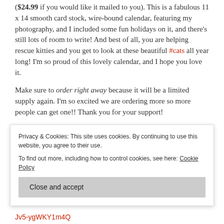($24.99 if you would like it mailed to you). This is a fabulous 11 x 14 smooth card stock, wire-bound calendar, featuring my photography, and I included some fun holidays on it, and there's still lots of room to write! And best of all, you are helping rescue kitties and you get to look at these beautiful #cats all year long! I'm so proud of this lovely calendar, and I hope you love it.
Make sure to order right away because it will be a limited supply again. I'm so excited we are ordering more so more people can get one!! Thank you for your support!
*Update: Please email me to order now as they have sold out at the venue! Thank you for all the orders and...
Privacy & Cookies: This site uses cookies. By continuing to use this website, you agree to their use.
To find out more, including how to control cookies, see here: Cookie Policy
Close and accept
Jv5-ygWKY1m4Q